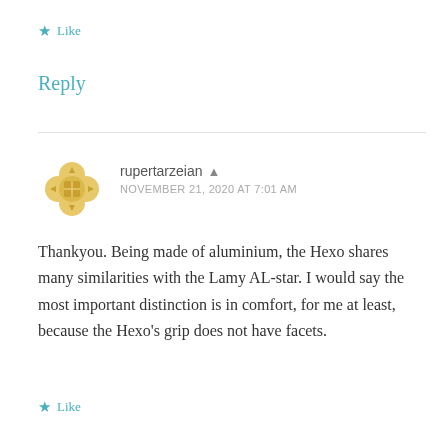★ Like
Reply
rupertarzeian ▲
NOVEMBER 21, 2020 AT 7:01 AM
Thankyou. Being made of aluminium, the Hexo shares many similarities with the Lamy AL-star. I would say the most important distinction is in comfort, for me at least, because the Hexo's grip does not have facets.
★ Like